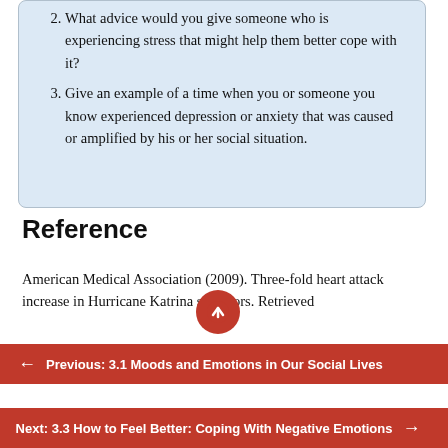2. What advice would you give someone who is experiencing stress that might help them better cope with it?
3. Give an example of a time when you or someone you know experienced depression or anxiety that was caused or amplified by his or her social situation.
Reference
American Medical Association (2009). Three-fold heart attack increase in Hurricane Katrina survivors. Retrieved
← Previous: 3.1 Moods and Emotions in Our Social Lives
Next: 3.3 How to Feel Better: Coping With Negative Emotions →